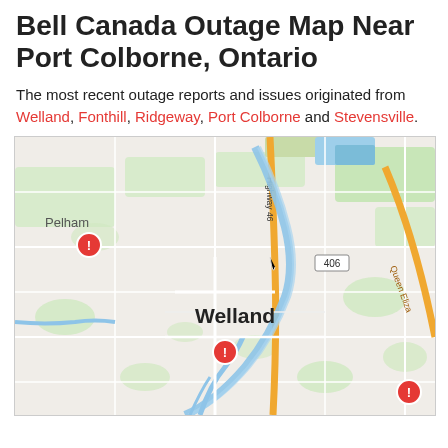Bell Canada Outage Map Near Port Colborne, Ontario
The most recent outage reports and issues originated from Welland, Fonthill, Ridgeway, Port Colborne and Stevensville.
[Figure (map): Street/road map centered on Welland, Ontario showing outage incident pins. Three red outage markers visible: one near Pelham (upper left), one in Welland city center, and one lower right. Roads visible include Highway 406, Queen Elizabeth Way, and various local streets. A canal/waterway runs through the map.]